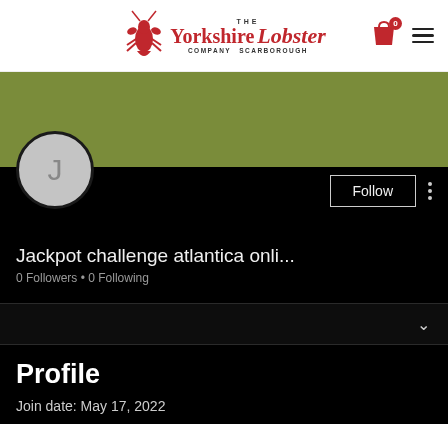[Figure (logo): The Yorkshire Lobster Company Scarborough logo with red lobster illustration and red script text]
[Figure (screenshot): Social media user profile page on dark background. Green banner at top, circular avatar with letter J, Follow button, dots menu, username 'Jackpot challenge atlantica onli...', 0 Followers, 0 Following, collapse chevron, Profile section with join date May 17, 2022]
Jackpot challenge atlantica onli...
0 Followers • 0 Following
Profile
Join date: May 17, 2022